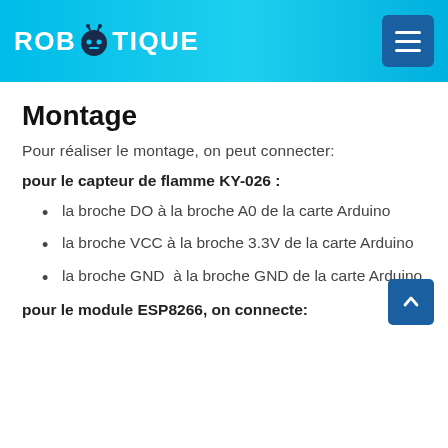ROBOTIQUE
Montage
Pour réaliser le montage, on peut connecter:
pour le capteur de flamme KY-026 :
la broche DO à la broche A0 de la carte Arduino
la broche VCC à la broche 3.3V de la carte Arduino
la broche GND  à la broche GND de la carte Arduino
pour le module ESP8266, on connecte: